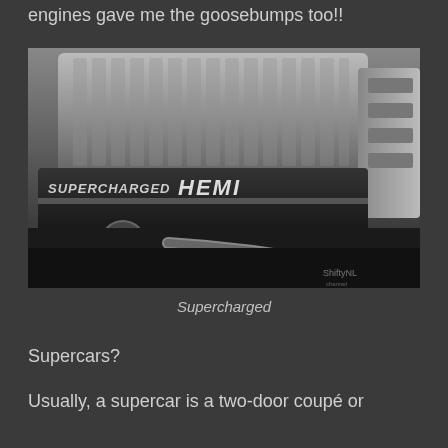engines gave me the goosebumps too!!
[Figure (photo): Close-up black and white photograph of a Supercharged HEMI engine, showing the supercharger intake manifold with vertical fins and the engine cover with 'SUPERCHARGED HEMI' lettering. An oil cap is visible in the lower left. Watermark 'ShiftyNL' in bottom right.]
Supercharged
Supercars?
Usually, a supercar is a two-door coupé or